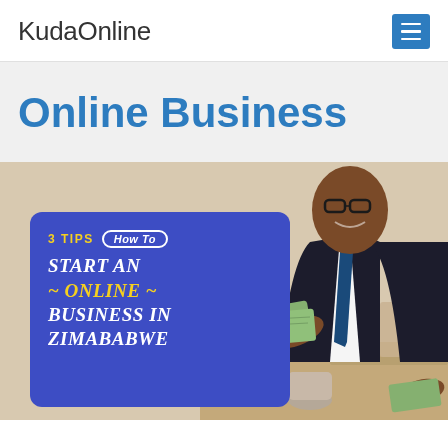KudaOnline
Online Business
[Figure (infographic): Promotional infographic card over a photo of a smiling man in a suit holding money near a laptop. The blue card reads: 3 TIPS | HOW TO | Start an Online Business in Zimbabwe]